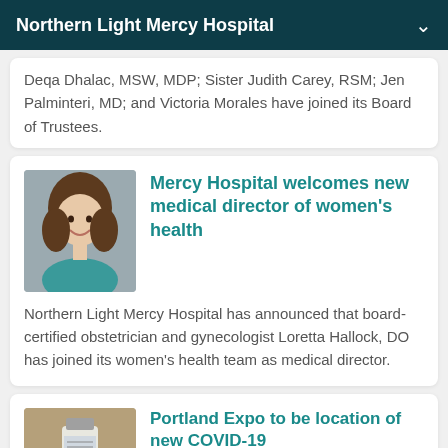Northern Light Mercy Hospital
Deqa Dhalac, MSW, MDP; Sister Judith Carey, RSM; Jen Palminteri, MD; and Victoria Morales have joined its Board of Trustees.
[Figure (photo): Headshot of a woman with long brown curly hair, smiling, wearing a teal/blue top]
Mercy Hospital welcomes new medical director of women's health
Northern Light Mercy Hospital has announced that board-certified obstetrician and gynecologist Loretta Hallock, DO has joined its women's health team as medical director.
[Figure (photo): A COVID-19 vaccine vial sitting on a surface]
Portland Expo to be location of new COVID-19